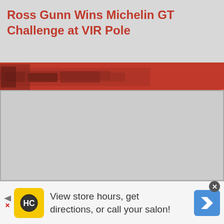Ross Gunn Wins Michelin GT Challenge at VIR Pole
[Figure (photo): Red banner strip with a partial image of racing cars on a track]
[Figure (photo): Large gray placeholder image area, main content image]
View store hours, get directions, or call your salon!